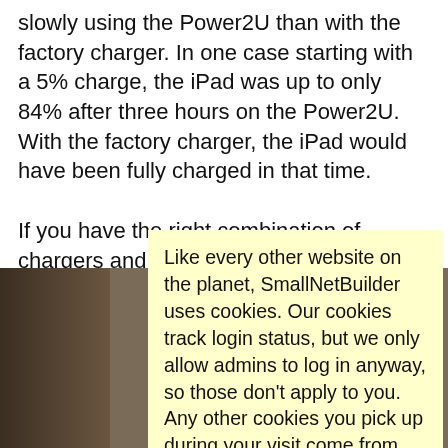slowly using the Power2U than with the factory charger. In one case starting with a 5% charge, the iPad was up to only 84% after three hours on the Power2U. With the factory charger, the iPad would have been fully charged in that time.
If you have the right combination of chargers and cables, Fi... up to four devices.
[Figure (photo): Photo of a dark-colored device or surface, partially obscured by cookie consent popup]
Like every other website on the planet, SmallNetBuilder uses cookies. Our cookies track login status, but we only allow admins to log in anyway, so those don't apply to you. Any other cookies you pick up during your visit come from advertisers, which we don't control.
If you continue to use the site, you agree to tolerate our use of cookies. Thank you!